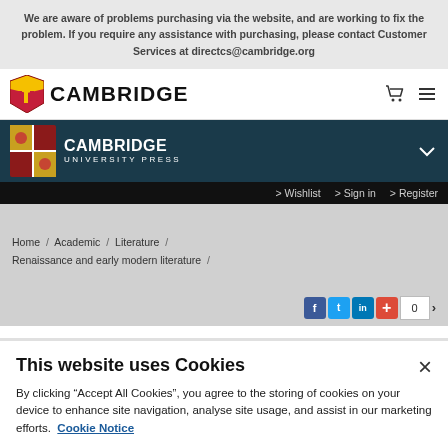We are aware of problems purchasing via the website, and are working to fix the problem. If you require any assistance with purchasing, please contact Customer Services at directcs@cambridge.org
[Figure (logo): Cambridge shield logo with CAMBRIDGE text and cart/menu icons]
[Figure (logo): Cambridge University Press logo on dark teal background with chevron]
> Wishlist  > Sign in  > Register
Home / Academic / Literature / Renaissance and early modern literature /
[Figure (screenshot): Social sharing buttons: Facebook, Twitter, LinkedIn, plus, count 0, arrow]
This website uses Cookies
By clicking “Accept All Cookies”, you agree to the storing of cookies on your device to enhance site navigation, analyse site usage, and assist in our marketing efforts.  Cookie Notice